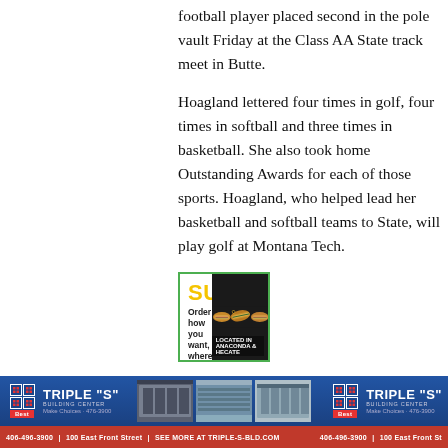football player placed second in the pole vault Friday at the Class AA State track meet in Butte.
Hoagland lettered four times in golf, four times in softball and three times in basketball. She also took home Outstanding Awards for each of those sports. Hoagland, who helped lead her basketball and softball teams to State, will play golf at Montana Tech.
[Figure (photo): Subway advertisement banner with logo, tagline 'Order how you want, where you want.' and food images of sandwiches, with text 'LOCATED IN ANACONDA & HECATE']
Butte High recognized all of its
[Figure (photo): Triple S Building Center advertisement banner with logo, store interior photos, shown twice side by side on blue background]
406-496-3900  |  100 East Front Street  |  SEE MORE AT TRIPLE-S-BLD.COM         406-496-3900  |  100 East Front St